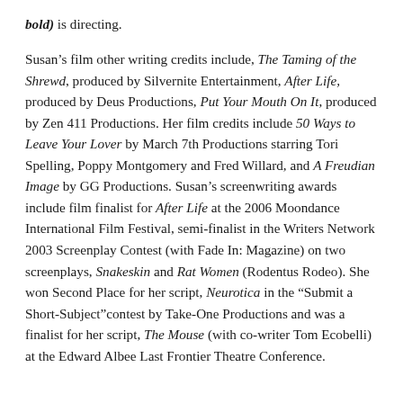bold) is directing.

Susan’s film other writing credits include, The Taming of the Shrewd, produced by Silvernite Entertainment, After Life, produced by Deus Productions, Put Your Mouth On It, produced by Zen 411 Productions. Her film credits include 50 Ways to Leave Your Lover by March 7th Productions starring Tori Spelling, Poppy Montgomery and Fred Willard, and A Freudian Image by GG Productions. Susan’s screenwriting awards include film finalist for After Life at the 2006 Moondance International Film Festival, semi-finalist in the Writers Network 2003 Screenplay Contest (with Fade In: Magazine) on two screenplays, Snakeskin and Rat Women (Rodentus Rodeo). She won Second Place for her script, Neurotica in the “Submit a Short-Subject”contest by Take-One Productions and was a finalist for her script, The Mouse (with co-writer Tom Ecobelli) at the Edward Albee Last Frontier Theatre Conference.